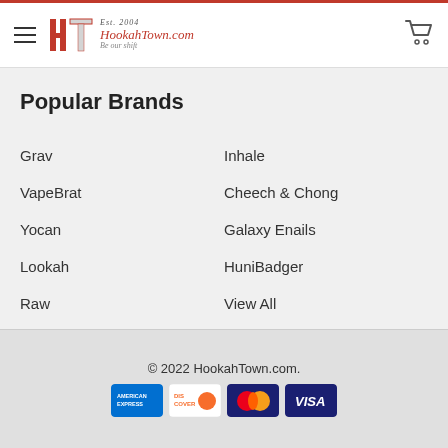HookahTown.com — Est. 2004 — Be Our Shift
Popular Brands
Grav
Inhale
VapeBrat
Cheech & Chong
Yocan
Galaxy Enails
Lookah
HuniBadger
Raw
View All
© 2022 HookahTown.com.